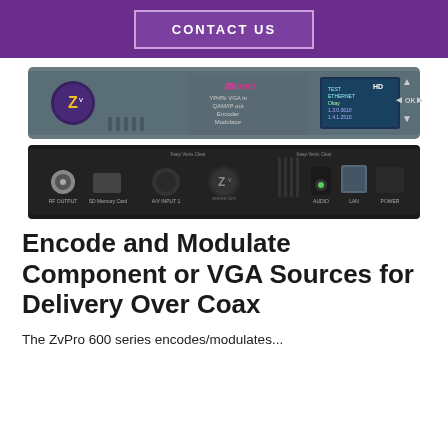CONTACT US
[Figure (photo): Front and rear view of the ZvPro600 series encoder/modulator hardware unit. The front panel shows a gray chassis with Zypcom/ZvPro branding, a color LCD display showing HD menu options, and navigation buttons. The rear panel is black with connectors labeled RF OUTPUT, SD Memory Card, A/V INPUT 1, AUDIO, LAN, and POWER, plus a Zv logo in the center.]
Encode and Modulate Component or VGA Sources for Delivery Over Coax
The ZvPro 600 series encodes/modulates...